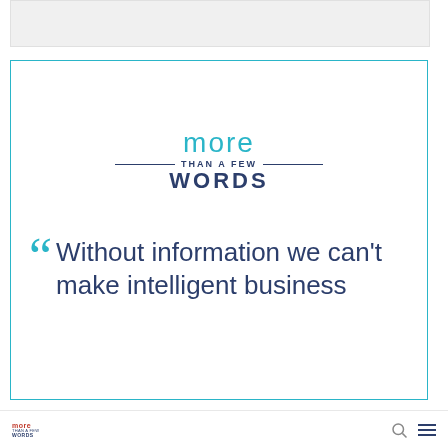[Figure (other): Light gray image placeholder bar at top of page]
[Figure (infographic): More Than A Few Words logo with teal 'more', navy 'THAN A FEW WORDS' text, inside a teal bordered box containing a large pull quote in navy: 'Without information we can't make intelligent business']
more than a few words | search icon | hamburger menu